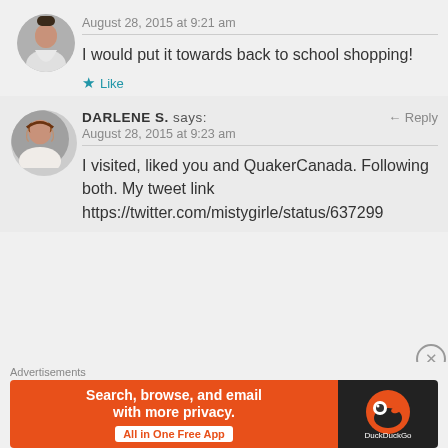August 28, 2015 at 9:21 am
I would put it towards back to school shopping!
Like
DARLENE S. says:
Reply
August 28, 2015 at 9:23 am
I visited, liked you and QuakerCanada. Following both. My tweet link https://twitter.com/mistygirle/status/637299
Advertisements
[Figure (other): DuckDuckGo advertisement banner: orange left side with text 'Search, browse, and email with more privacy. All in One Free App', dark right side with DuckDuckGo logo]